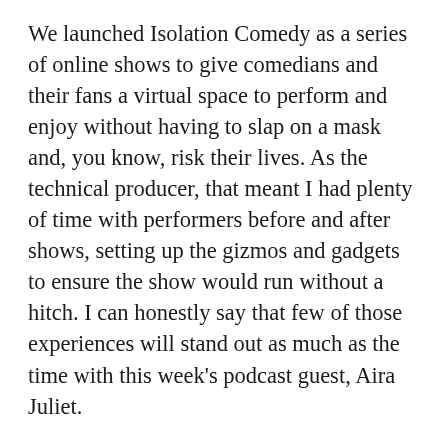We launched Isolation Comedy as a series of online shows to give comedians and their fans a virtual space to perform and enjoy without having to slap on a mask and, you know, risk their lives. As the technical producer, that meant I had plenty of time with performers before and after shows, setting up the gizmos and gadgets to ensure the show would run without a hitch. I can honestly say that few of those experiences will stand out as much as the time with this week's podcast guest, Aira Juliet.
Comedy, and performing, has been a fixture in Juliet's life since her childhood days in Houston, and it takes mere seconds with her to realize just how core it is. The girl who loved to make up jokes based on strawberries and bananas (which were “awful”, she claims) was hooked on making people laugh, leading to a love of watching Saturday Night Live, and what she admits was probably a bit too early of an exposure to